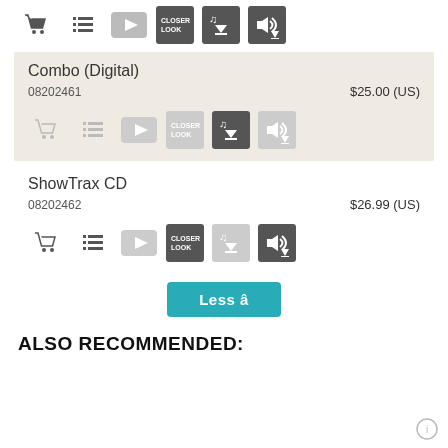[Figure (screenshot): Top row of product action icons: cart, list, video, Closer Look, music download, audio download]
Combo (Digital)
08202461   $25.00 (US)
[Figure (screenshot): Combo (Digital) action icons: cart, list, video, Closer Look, music download (active), audio download (inactive)]
ShowTrax CD
08202462   $26.99 (US)
[Figure (screenshot): ShowTrax CD action icons: cart, list, video, Closer Look, music download (inactive), audio download (active)]
Less ^
ALSO RECOMMENDED: